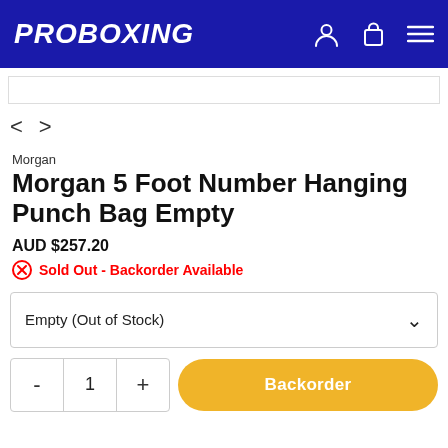PROBOXING
Morgan
Morgan 5 Foot Number Hanging Punch Bag Empty
AUD $257.20
Sold Out - Backorder Available
Empty (Out of Stock)
- 1 + Backorder